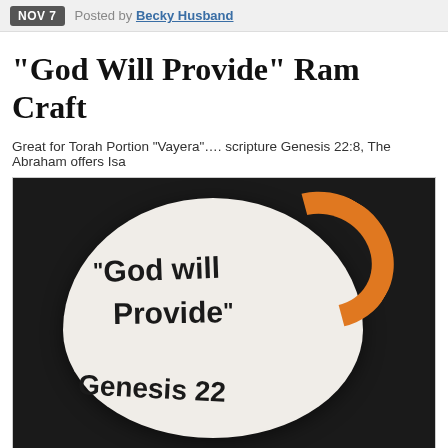NOV 7  Posted by Becky Husband
“God Will Provide” Ram Craft
Great for Torah Portion “Vayera”…. scripture Genesis 22:8, The Abraham offers Isa
[Figure (photo): A handmade ram craft made from white foam/paper with an orange foam horn. Written on the body in black marker: “God will Provide” and “Genesis 22”]